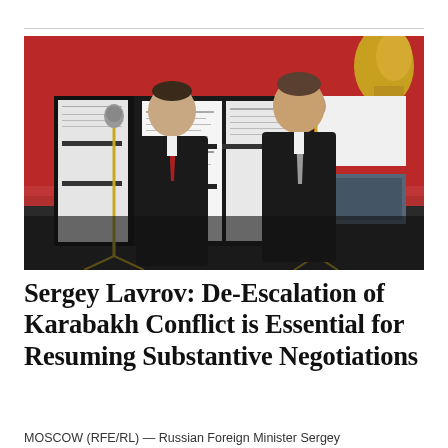[Figure (photo): Two men in dark suits standing at microphones in front of display boards with documents, in an ornate room with red patterned curtains and gold decor. The man on the left wears a red tie, the man on the right wears a grey tie and appears to be speaking.]
Sergey Lavrov: De-Escalation of Karabakh Conflict is Essential for Resuming Substantive Negotiations
MOSCOW (RFE/RL) — Russian Foreign Minister Sergey